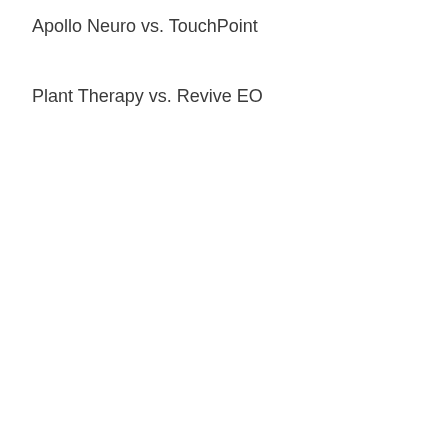Apollo Neuro vs. TouchPoint
Plant Therapy vs. Revive EO